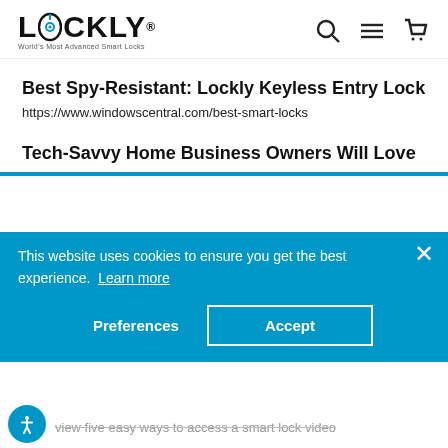[Figure (logo): Lockly logo with stylized O containing a target/lock icon, tagline: World's Most Advanced Smart Locks]
Best Spy-Resistant: Lockly Keyless Entry Lock
https://www.windowscentral.com/best-smart-locks
Tech-Savvy Home Business Owners Will Love
This website uses cookies to ensure you get the best experience.  Learn more
Preferences  Accept
view five easy ways to access a smart lock video